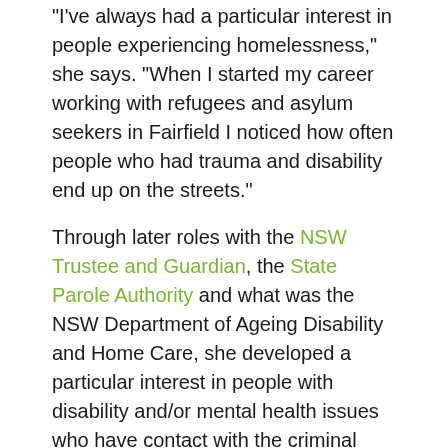“I’ve always had a particular interest in people experiencing homelessness,” she says. “When I started my career working with refugees and asylum seekers in Fairfield I noticed how often people who had trauma and disability end up on the streets.”
Through later roles with the NSW Trustee and Guardian, the State Parole Authority and what was the NSW Department of Ageing Disability and Home Care, she developed a particular interest in people with disability and/or mental health issues who have contact with the criminal justice system.
“People with complex needs often cycle in and out of prison – and homelessness,” she observes. “Often systems fail the individual.”
A connection with the Haymarket Foundation:
A large proportion of residents at the Haymarket